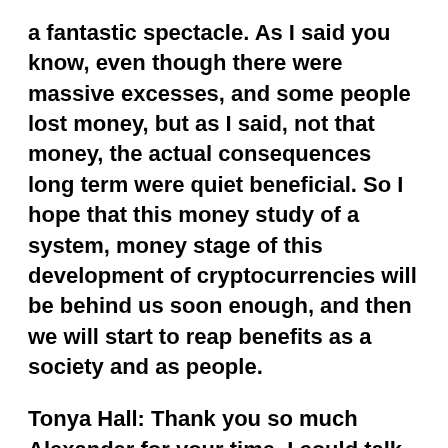a fantastic spectacle. As I said you know, even though there were massive excesses, and some people lost money, but as I said, not that money, the actual consequences long term were quiet beneficial. So I hope that this money study of a system, money stage of this development of cryptocurrencies will be behind us soon enough, and then we will start to reap benefits as a society and as people.
Tonya Hall: Thank you so much Alexander for your time. I could talk to you about this topic forever, because there's so much to say and I'm really excited to see where we're taking this in the future. If somebody wants more advice from you or to find out what you're doing, how can